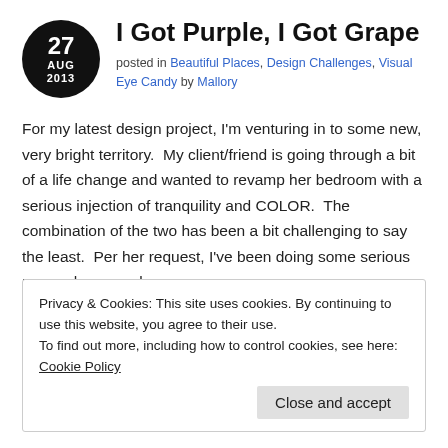I Got Purple, I Got Grape
posted in Beautiful Places, Design Challenges, Visual Eye Candy by Mallory
For my latest design project, I'm venturing in to some new, very bright territory.  My client/friend is going through a bit of a life change and wanted to revamp her bedroom with a serious injection of tranquility and COLOR.  The combination of the two has been a bit challenging to say the least.  Per her request, I've been doing some serious research on purple rooms.
Privacy & Cookies: This site uses cookies. By continuing to use this website, you agree to their use.
To find out more, including how to control cookies, see here: Cookie Policy
Close and accept